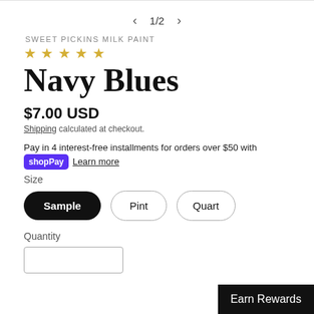1/2
SWEET PICKINS MILK PAINT
[Figure (other): Five empty star rating icons in gold/yellow outline]
Navy Blues
$7.00 USD
Shipping calculated at checkout.
Pay in 4 interest-free installments for orders over $50 with shop Pay Learn more
Size
Sample   Pint   Quart
Quantity
Earn Rewards